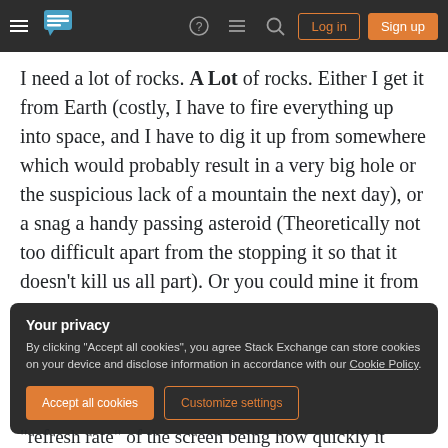Stack Exchange navigation bar with hamburger menu, logo, help, chat, search icons, Log in and Sign up buttons
I need a lot of rocks. A Lot of rocks. Either I get it from Earth (costly, I have to fire everything up into space, and I have to dig it up from somewhere which would probably result in a very big hole or the suspicious lack of a mountain the next day), or a snag a handy passing asteroid (Theoretically not too difficult apart from the stopping it so that it doesn't kill us all part). Or you could mine it from the moon. All three are theoretically possible with enough money and time with our current technology.
Your privacy
By clicking "Accept all cookies", you agree Stack Exchange can store cookies on your device and disclose information in accordance with our Cookie Policy.
Accept all cookies  Customize settings
"refresh rate" of the screen being how quickly it